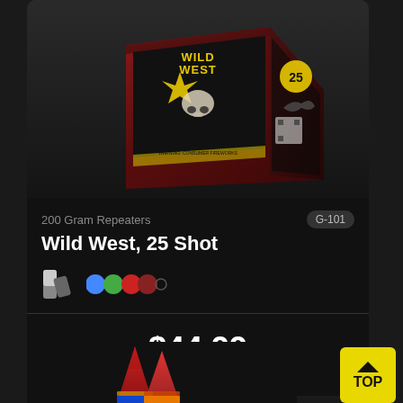[Figure (photo): Wild West 25 Shot fireworks box product photo on dark background]
200 Gram Repeaters
G-101
Wild West, 25 Shot
[Figure (illustration): Color swatches icon and four overlapping colored dots (blue, green, red, dark red) indicating available colors]
$44.99
♡ Add to Favorites
[Figure (photo): Bottom portion of next product card showing two red cone-shaped fireworks]
TOP